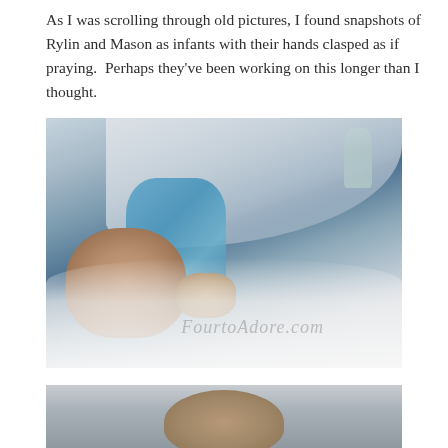As I was scrolling through old pictures, I found snapshots of Rylin and Mason as infants with their hands clasped as if praying.  Perhaps they've been working on this longer than I thought.
[Figure (photo): Newborn infant in hospital setting with nasal cannula, wearing a blue patterned onesie, lying among white blankets with hands clasped together near face. Watermark reads 'FourtoAdore.com'.]
[Figure (photo): Partial view of another infant photo, showing the top of a baby's head against a light background, cropped at the bottom of the page.]